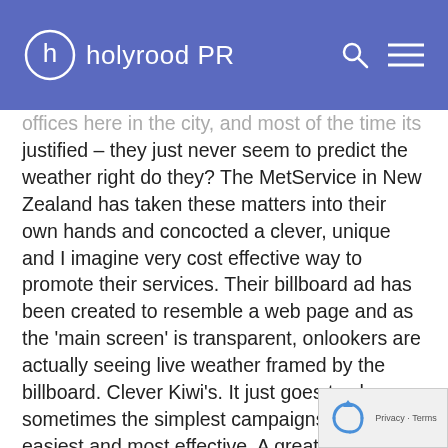holyrood PR
offices here in the city, and most of the time its justified – they just never seem to predict the weather right do they? The MetService in New Zealand has taken these matters into their own hands and concocted a clever, unique and I imagine very cost effective way to promote their services. Their billboard ad has been created to resemble a web page and as the 'main screen' is transparent, onlookers are actually seeing live weather framed by the billboard. Clever Kiwi's. It just goes to show sometimes the simplest campaigns are the easiest and most effective. A great idea although it does beg the question: why would you need a real-time weather update from a website, when you could just look outside?
http://www.thedrum.com/stuff/2013/03/29/new zealand-weather-service-billboard-ad-shows-it live-weather-updates